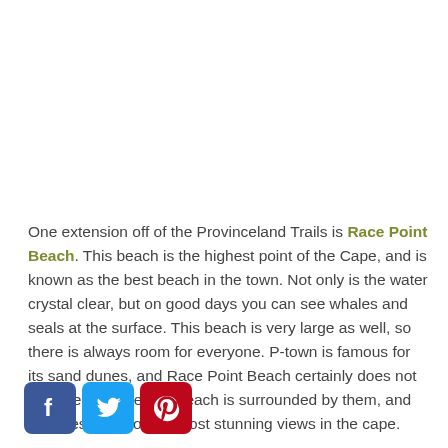One extension off of the Provinceland Trails is Race Point Beach. This beach is the highest point of the Cape, and is known as the best beach in the town. Not only is the water crystal clear, but on good days you can see whales and seals at the surface. This beach is very large as well, so there is always room for everyone. P-town is famous for its sand dunes, and Race Point Beach certainly does not lack them. The entire beach is surrounded by them, and provides some of the most stunning views in the cape.
[Figure (other): Social media sharing icons: Facebook (blue), Twitter (light blue), Pinterest (red)]